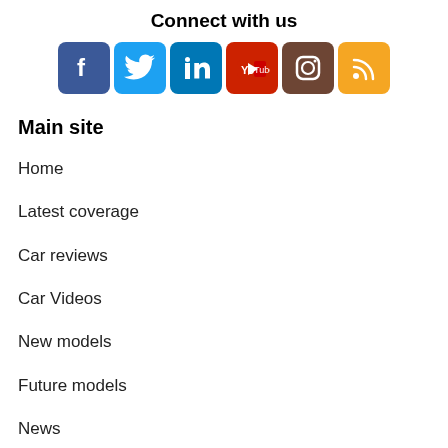Connect with us
[Figure (infographic): Six social media icon buttons: Facebook (blue), Twitter (light blue), LinkedIn (blue), YouTube (red), Instagram (brown), RSS (orange)]
Main site
Home
Latest coverage
Car reviews
Car Videos
New models
Future models
News
Make Model Search
Motor Show Coverage
New Cars Buying Service
Sitemap
Researching
Research a car
Select a car type